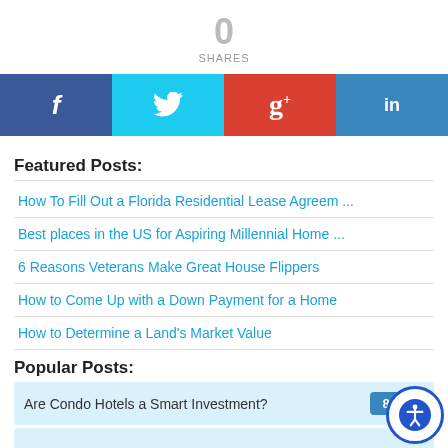0
SHARES
[Figure (infographic): Four social sharing buttons: Facebook (blue), Twitter (cyan), Google+ (red), LinkedIn (blue) each with white icons]
Featured Posts:
How To Fill Out a Florida Residential Lease Agreem ...
Best places in the US for Aspiring Millennial Home ...
6 Reasons Veterans Make Great House Flippers
How to Come Up with a Down Payment for a Home
How to Determine a Land's Market Value
Popular Posts:
Are Condo Hotels a Smart Investment? 8146
[Figure (infographic): Accessibility icon button (person with circle) in bottom right corner]